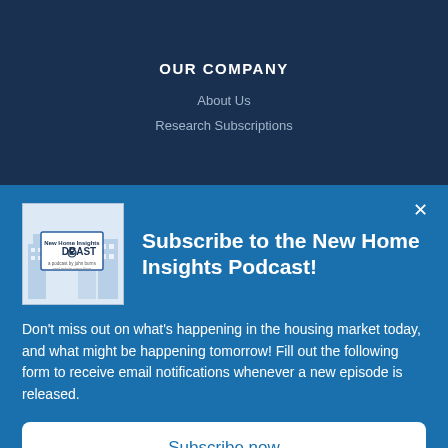OUR COMPANY
About Us
Research Subscriptions
Subscribe to the New Home Insights Podcast!
Don't miss out on what's happening in the housing market today, and what might be happening tomorrow! Fill out the following form to receive email notifications whenever a new episode is released.
Subscribe now